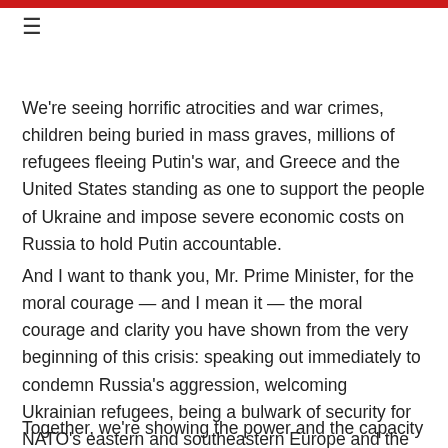≡
We're seeing horrific atrocities and war crimes, children being buried in mass graves, millions of refugees fleeing Putin's war, and Greece and the United States standing as one to support the people of Ukraine and impose severe economic costs on Russia to hold Putin accountable.
And I want to thank you, Mr. Prime Minister, for the moral courage — and I mean it — the moral courage and clarity you have shown from the very beginning of this crisis: speaking out immediately to condemn Russia's aggression, welcoming Ukrainian refugees, being a bulwark of security for NATO's eastern and southeastern Europe and the Mediterranean.
Together, we're showing the power and the capacity of democracies to be able to act in unison. And we're helping